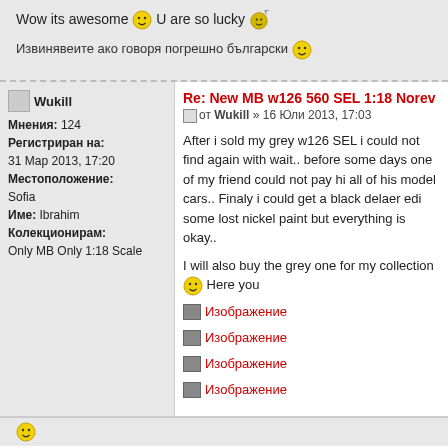Wow its awesome 😊 U are so lucky 😎
Извинявеите ако говоря погрешно български 😊
Re: New MB w126 560 SEL 1:18 Norev
от Wukill » 16 Юли 2013, 17:03
Мнения: 124
Регистриран на: 31 Мар 2013, 17:20
Местоположение: Sofia
Име: Ibrahim
Колекционирам: Only MB Only 1:18 Scale
After i sold my grey w126 SEL i could not find again with wait.. before some days one of my friend could not pay hi all of his model cars.. Finaly i could get a black delaer edi some lost nickel paint but everything is okay..
I will also buy the grey one for my collection 😊 Here you
[Figure (other): Placeholder image link labeled Изображение]
[Figure (other): Placeholder image link labeled Изображение]
[Figure (other): Placeholder image link labeled Изображение]
[Figure (other): Placeholder image link labeled Изображение]